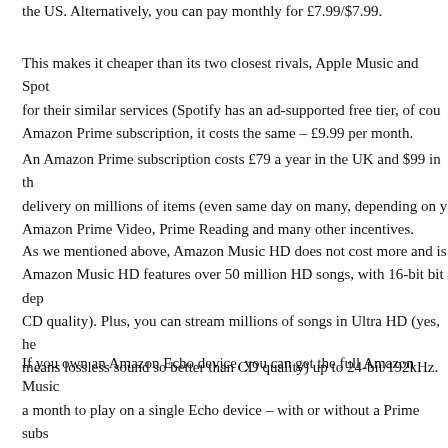the US. Alternatively, you can pay monthly for £7.99/$7.99.
This makes it cheaper than its two closest rivals, Apple Music and Spot for their similar services (Spotify has an ad-supported free tier, of cou Amazon Prime subscription, it costs the same – £9.99 per month.
An Amazon Prime subscription costs £79 a year in the UK and $99 in th delivery on millions of items (even same day on many, depending on y Amazon Prime Video, Prime Reading and many other incentives.
As we mentioned above, Amazon Music HD does not cost more and is Amazon Music HD features over 50 million HD songs, with 16-bit bit dep CD quality). Plus, you can stream millions of songs in Ultra HD (yes, he means lossless sound so better than CD quality) up to 24-bit/192kHz.
If you own an Amazon Echo device, you can get the full Amazon Music a month to play on a single Echo device – with or without a Prime subs models, all of which you can compare in our separate feature. There's per month whether you're a Prime member or not.